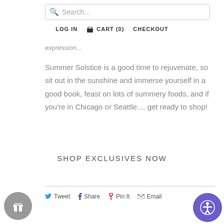Search...
LOG IN  CART (0)  CHECKOUT
expression...
Summer Solstice is a good time to rejuvenate, so sit out in the sunshine and immerse yourself in a good book, feast on lots of summery foods, and if you're in Chicago or Seattle.... get ready to shop!
SHOP EXCLUSIVES NOW
Tweet  Share  Pin It  Email